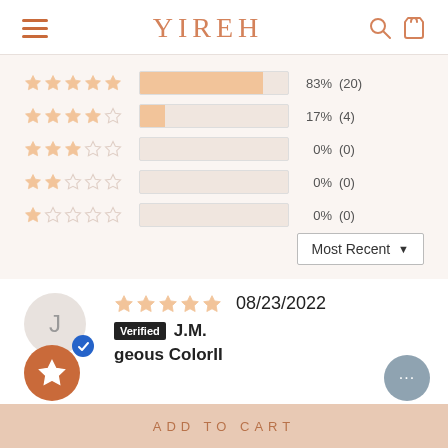YIREH
[Figure (infographic): Star rating breakdown bars: 5-star 83% (20), 4-star 17% (4), 3-star 0% (0), 2-star 0% (0), 1-star 0% (0)]
[Figure (screenshot): Most Recent sort dropdown]
08/23/2022
Verified J.M.
geous ColorII